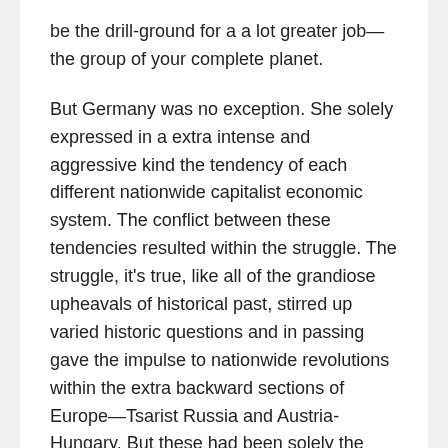be the drill-ground for a a lot greater job—the group of your complete planet.
But Germany was no exception. She solely expressed in a extra intense and aggressive kind the tendency of each different nationwide capitalist economic system. The conflict between these tendencies resulted within the struggle. The struggle, it's true, like all of the grandiose upheavals of historical past, stirred up varied historic questions and in passing gave the impulse to nationwide revolutions within the extra backward sections of Europe—Tsarist Russia and Austria-Hungary. But these had been solely the belated echoes of an epoch that had already handed away. Essentially the struggle was imperialist in character. With